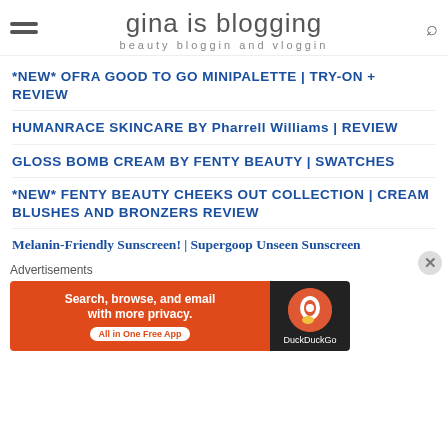gina is blogging — beauty bloggin and vloggin
*NEW* OFRA GOOD TO GO MINIPALETTE | TRY-ON + REVIEW
HUMANRACE SKINCARE BY Pharrell Williams | REVIEW
GLOSS BOMB CREAM BY FENTY BEAUTY | SWATCHES
*NEW* FENTY BEAUTY CHEEKS OUT COLLECTION | CREAM BLUSHES AND BRONZERS REVIEW
Melanin-Friendly Sunscreen! | Supergoop Unseen Sunscreen
Advertisements
[Figure (screenshot): DuckDuckGo advertisement banner: Search, browse, and email with more privacy. All in One Free App]